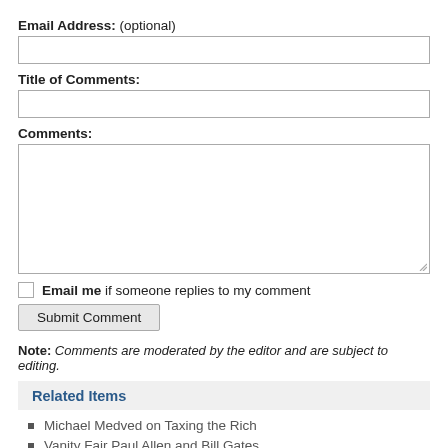Email Address: (optional)
Title of Comments:
Comments:
Email me if someone replies to my comment
Submit Comment
Note: Comments are moderated by the editor and are subject to editing.
Related Items
Michael Medved on Taxing the Rich
Vanity Fair Paul Allen and Bill Gates
Two More Tax Points